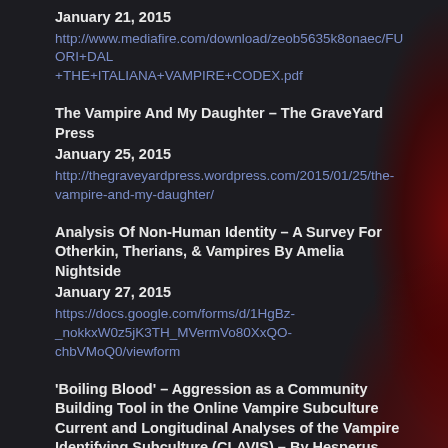January 21, 2015
http://www.mediafire.com/download/zeob5635k8onaec/FUORI+DAL+THE+ITALIANA+VAMPIRE+CODEX.pdf
The Vampire And My Daughter – The GraveYard Press
January 25, 2015
http://thegraveyardpress.wordpress.com/2015/01/25/the-vampire-and-my-daughter/
Analysis Of Non-Human Identity – A Survey For Otherkin, Therians, & Vampires By Amelia Nightside
January 27, 2015
https://docs.google.com/forms/d/1HgBz-_nokkxW0z5jK3TH_MVermVo80XxQO-chbVMoQ0/viewform
'Boiling Blood' – Aggression as a Community Building Tool in the Online Vampire Subculture Current and Longitudinal Analyses of the Vampire Identifying Subculture (CLAVIS) – By Hesperus
January 28, 2015